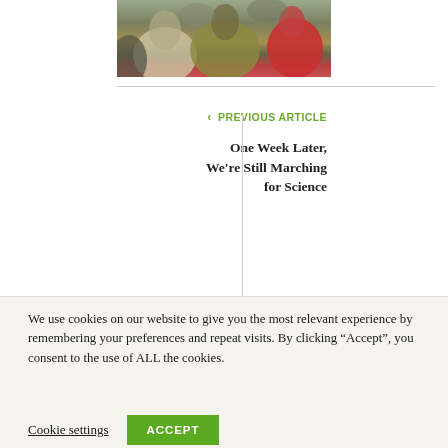[Figure (photo): Cropped photo showing the backs of a crowd of people, including someone in a floral jacket, someone in an olive/yellow coat, and someone in a red hooded jacket.]
< PREVIOUS ARTICLE
One Week Later, We're Still Marching for Science
We use cookies on our website to give you the most relevant experience by remembering your preferences and repeat visits. By clicking "Accept", you consent to the use of ALL the cookies.
Cookie settings
ACCEPT